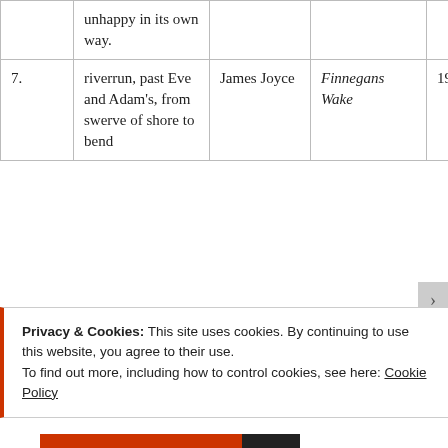| # | Opening line | Author | Work | Year |
| --- | --- | --- | --- | --- |
|  | unhappy in its own way. |  |  |  |
| 7. | riverrun, past Eve and Adam's, from swerve of shore to bend | James Joyce | Finnegans Wake | 1939 |
Privacy & Cookies: This site uses cookies. By continuing to use this website, you agree to their use.
To find out more, including how to control cookies, see here: Cookie Policy